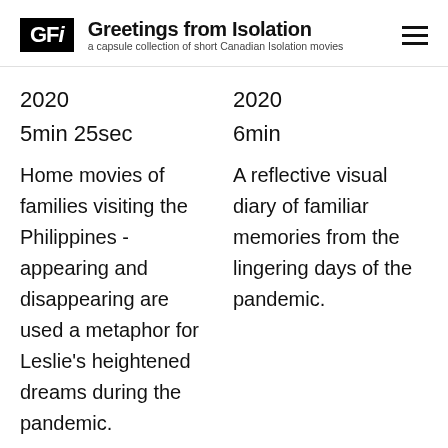GFi Greetings from Isolation — a capsule collection of short Canadian Isolation movies
2020
5min 25sec
Home movies of families visiting the Philippines - appearing and disappearing are used a metaphor for Leslie's heightened dreams during the pandemic.
2020
6min
A reflective visual diary of familiar memories from the lingering days of the pandemic.